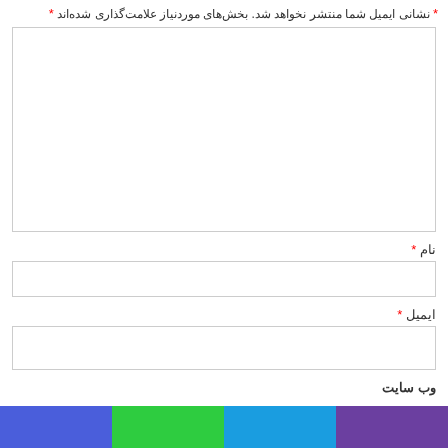* نشانی ایمیل شما منتشر نخواهد شد. بخش‌های موردنیاز علامت‌گذاری شده‌اند *
[Figure (other): Large empty textarea input box]
نام *
[Figure (other): Single-line text input box for name]
ایمیل *
[Figure (other): Single-line text input box for email]
وب سایت
[Figure (other): Color bar at bottom with four segments: purple, blue, green, indigo-blue]